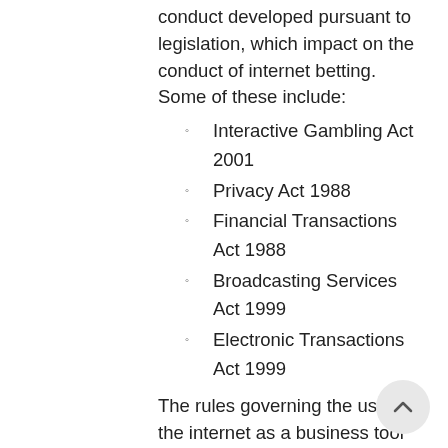conduct developed pursuant to legislation, which impact on the conduct of internet betting. Some of these include:
Interactive Gambling Act 2001
Privacy Act 1988
Financial Transactions Act 1988
Broadcasting Services Act 1999
Electronic Transactions Act 1999
The rules governing the use of the internet as a business tool are constantly being reviewed, updated and expanded. It is the responsibility of the bookmaker to ensure that all statutory obligations are observed.
2. Any internet betting system shall be developed in accordance with the commission's specifications.